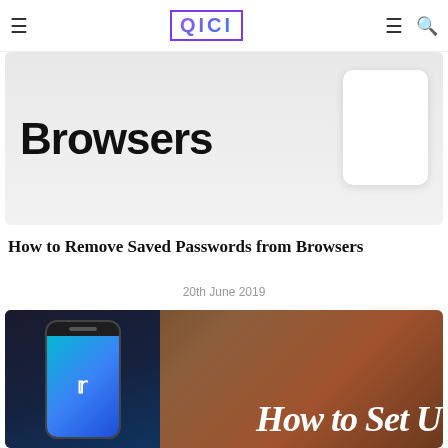QICI
[Figure (photo): Article thumbnail showing the word 'Browsers' in large bold text on a white background with a white rounded card]
How to Remove Saved Passwords from Browsers
20th June 2019
[Figure (photo): Article thumbnail showing a smartphone with Twitter app open, with blurred brown wooden background and partial text 'How to Set U']